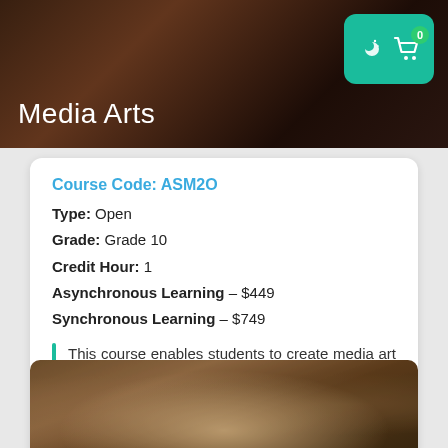Media Arts
Course Code: ASM2O
Type: Open
Grade: Grade 10
Credit Hour: 1
Asynchronous Learning – $449
Synchronous Learning – $749
This course enables students to create media art works by exploring new media, e...
ADD TO CART
EXPLORE
[Figure (photo): Blurred photo of stacked books on a shelf, bottom of page]